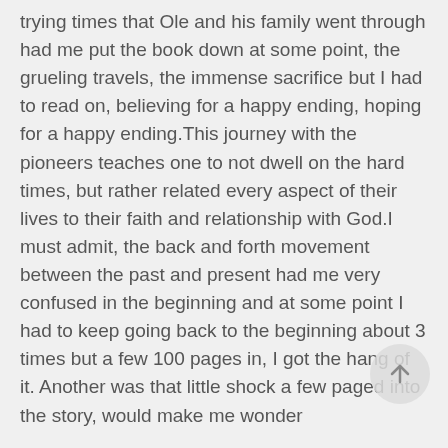trying times that Ole and his family went through had me put the book down at some point, the grueling travels, the immense sacrifice but I had to read on, believing for a happy ending, hoping for a happy ending.This journey with the pioneers teaches one to not dwell on the hard times, but rather related every aspect of their lives to their faith and relationship with God.I must admit, the back and forth movement between the past and present had me very confused in the beginning and at some point I had to keep going back to the beginning about 3 times but a few 100 pages in, I got the hang of it. Another was that little shock a few paged into the story, would make me wonder
[Figure (other): A circular scroll-to-top button with an upward arrow icon, positioned in the lower right area of the page.]